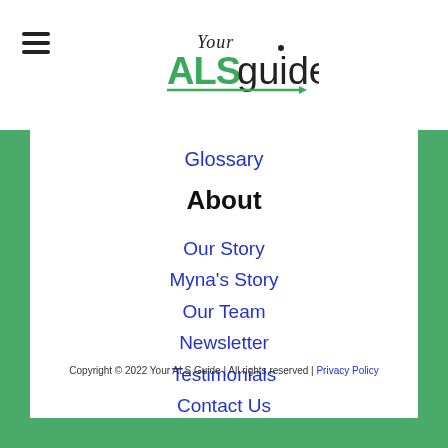Your ALS Guide
Glossary
About
Our Story
Myna's Story
Our Team
Newsletter
Testimonials
Contact Us
Copyright © 2022 Your ALS Guide | All rights reserved | Privacy Policy